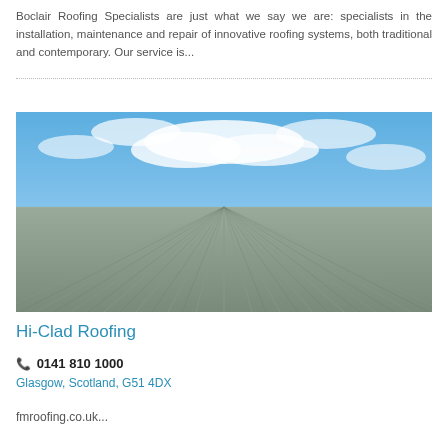Boclair Roofing Specialists are just what we say we are: specialists in the installation, maintenance and repair of innovative roofing systems, both traditional and contemporary. Our service is...
[Figure (photo): Photograph of a corrugated metal roofing surface extending to the horizon under a partly cloudy blue sky, shot from a low perspective to emphasize the parallel ridges converging in perspective.]
Hi-Clad Roofing
0141 810 1000
Glasgow, Scotland, G51 4DX
fmroofing.co.uk...